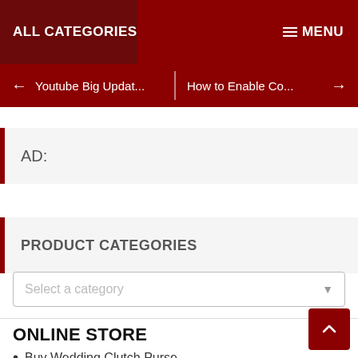ALL CATEGORIES
MENU
Youtube Big Updat... How to Enable Co...
AD:
PRODUCT CATEGORIES
Select a category
ONLINE STORE
Buy Wedding Clutch Purse